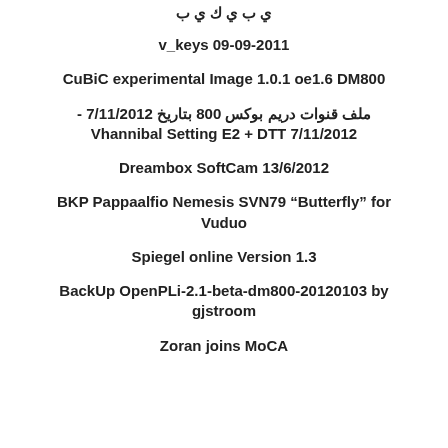v_keys 09-09-2011
CuBiC experimental Image 1.0.1 oe1.6 DM800
ملف قنوات دريم بوكس 800 بتاريخ 7/11/2012 - Vhannibal Setting E2 + DTT 7/11/2012
Dreambox SoftCam 13/6/2012
BKP Pappaalfio Nemesis SVN79 “Butterfly” for Vuduo
Spiegel online Version 1.3
BackUp OpenPLi-2.1-beta-dm800-20120103 by gjstroom
Zoran joins MoCA